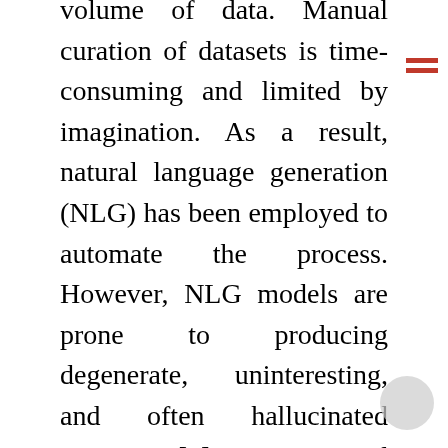volume of data. Manual curation of datasets is time-consuming and limited by imagination. As a result, natural language generation (NLG) has been employed to automate the process. However, NLG models are prone to producing degenerate, uninteresting, and often hallucinated outputs [1]. Constrained generation aims to overcome these shortcomings by appending additional information to the generation process. Training data thus generated can help improve the robustness of deep learning models. Therefore, the key research question of the thesis is: “How can we constrain generation models, especially in NLP, to produce meaningful outputs and utilize them for building better classification models?” In the first part, we present two approaches for constraining NLG models via the task of paraphrase generation. Paraphrase generation involves the generation of text that conveys the same meaning as a reference